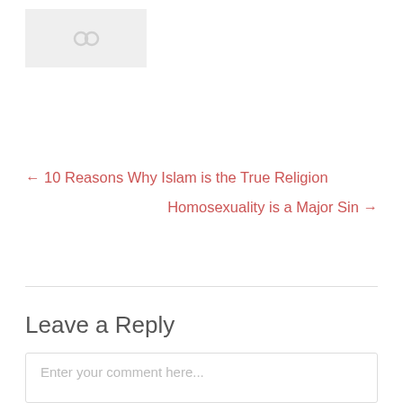[Figure (other): Small placeholder image thumbnail with link icon]
← 10 Reasons Why Islam is the True Religion
Homosexuality is a Major Sin →
Leave a Reply
Enter your comment here...